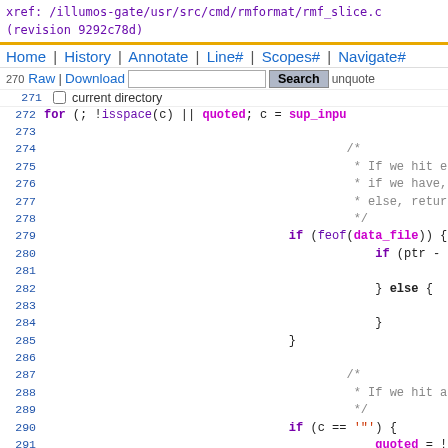xref: /illumos-gate/usr/src/cmd/rmformat/rmf_slice.c
(revision 9292c78d)
[Figure (screenshot): Navigation bar with links: Home | History | Annotate | Line# | Scopes# | Navigate#]
[Figure (screenshot): Toolbar with Raw | Download links, search input box, Search button, and 'unquote' text]
[Figure (screenshot): Checkbox labeled 'current directory']
Source code listing lines 272-294 of rmf_slice.c showing C code with for loop, EOF/eof checks, string returns, and double-quote handling